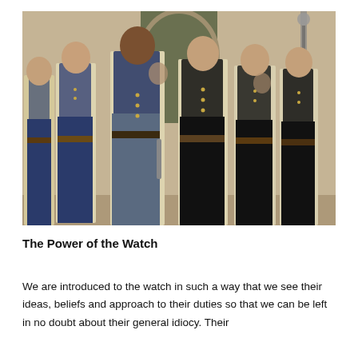[Figure (photo): A group of men dressed in historical military-style uniforms — cream/white double-breasted jackets with dark blue lapels and black trousers — standing together in front of an arched stone doorway. The scene resembles a period drama or film still.]
The Power of the Watch
We are introduced to the watch in such a way that we see their ideas, beliefs and approach to their duties so that we can be left in no doubt about their general idiocy. Their